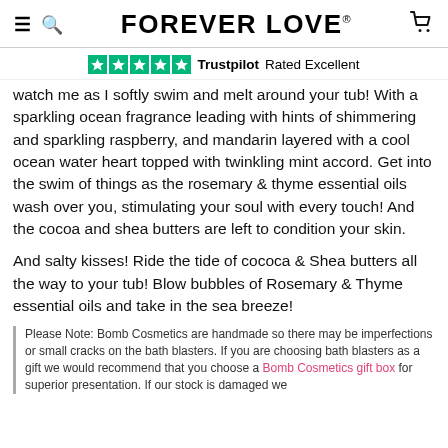FOREVER LOVE®
Trustpilot  Rated Excellent
watch me as I softly swim and melt around your tub! With a sparkling ocean fragrance leading with hints of shimmering and sparkling raspberry, and mandarin layered with a cool ocean water heart topped with twinkling mint accord. Get into the swim of things as the rosemary & thyme essential oils wash over you, stimulating your soul with every touch! And the cocoa and shea butters are left to condition your skin.
And salty kisses! Ride the tide of cococa & Shea butters all the way to your tub! Blow bubbles of Rosemary & Thyme essential oils and take in the sea breeze!
Please Note: Bomb Cosmetics are handmade so there may be imperfections or small cracks on the bath blasters. If you are choosing bath blasters as a gift we would recommend that you choose a Bomb Cosmetics gift box for superior presentation. If our stock is damaged we